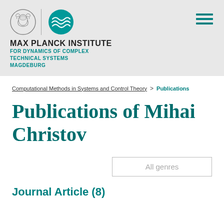[Figure (logo): Max Planck Institute logo with Minerva medallion, vertical divider, teal wave symbol, institute name and subtitle]
Computational Methods in Systems and Control Theory > Publications
Publications of Mihai Christov
All genres
Journal Article (8)